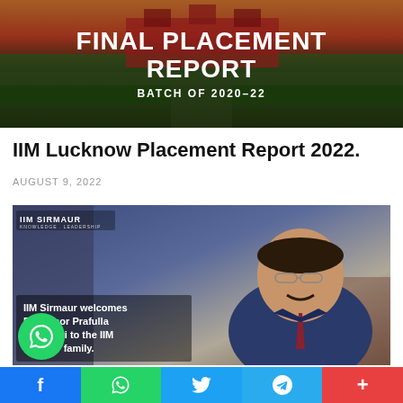[Figure (photo): IIM Lucknow campus banner showing red brick building with text FINAL PLACEMENT REPORT BATCH OF 2020-22 in white bold letters on dark background]
IIM Lucknow Placement Report 2022.
AUGUST 9, 2022
[Figure (photo): Professor Prafulla Agnihotri in a blue suit and tie, with IIM Sirmaur logo and text: IIM Sirmaur welcomes Professor Prafulla Agnihotri to the IIM Sirmaur family.]
f | WhatsApp icon | Twitter bird | Telegram arrow | +